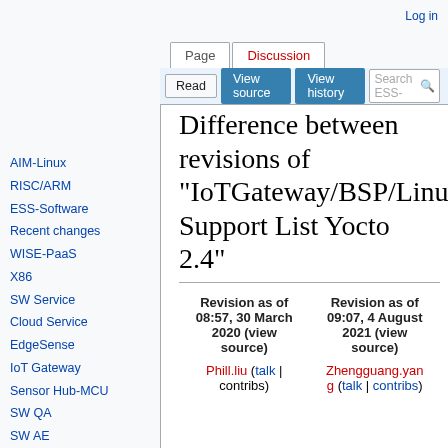Log in
Difference between revisions of "IoTGateway/BSP/Linux Support List Yocto 2.4"
AIM-Linux
RISC/ARM
ESS-Software
Recent changes
WISE-PaaS
X86
SW Service
Cloud Service
EdgeSense
IoT Gateway
Sensor Hub-MCU
SW QA
SW AE
ACN AE
|  |  |
| --- | --- |
| Revision as of 08:57, 30 March 2020 (view source) | Revision as of 09:07, 4 August 2021 (view source) |
| Phill.liu (talk | contribs) | Zhengguang.yang (talk | contribs) |